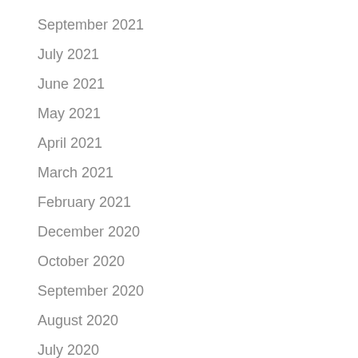September 2021
July 2021
June 2021
May 2021
April 2021
March 2021
February 2021
December 2020
October 2020
September 2020
August 2020
July 2020
June 2020
May 2020